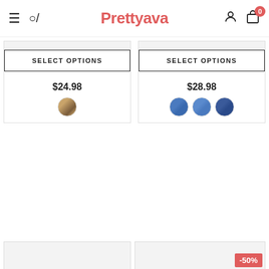Prettyava — navigation header with hamburger menu, search, logo, user account, and cart (0)
[Figure (photo): Product image placeholder for Prettyava Flower Embellished shoes]
SELECT OPTIONS
Prettyava Flower Embellished O...
$24.98
[Figure (photo): Color swatch circle for Prettyava Flower Embellished product]
[Figure (photo): Product image placeholder for Prettyava Women Comfy Slip shoes]
SELECT OPTIONS
Prettyava Women Comfy Slip-...
$28.98
[Figure (photo): Three color swatch circles for Prettyava Women Comfy Slip product]
[Figure (photo): Partially visible product card at bottom left]
[Figure (photo): Partially visible product card at bottom right with -50% sale badge]